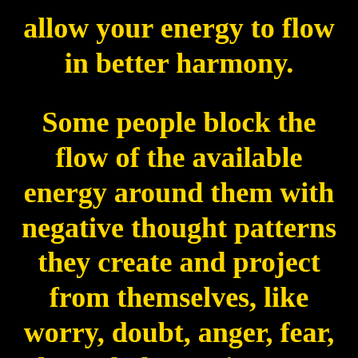allow your energy to flow in better harmony.
Some people block the flow of the available energy around them with negative thought patterns they create and project from themselves, like worry, doubt, anger, fear, hatred, depression, etc.